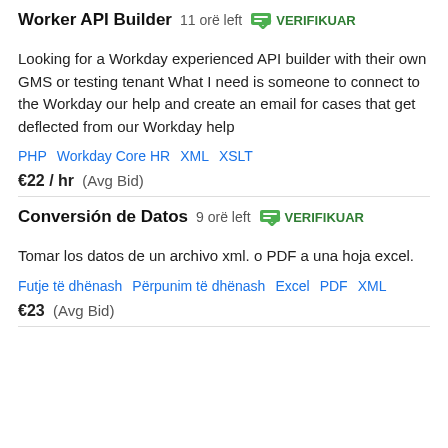Worker API Builder  11 orë left  VERIFIKUAR
Looking for a Workday experienced API builder with their own GMS or testing tenant What I need is someone to connect to the Workday our help and create an email for cases that get deflected from our Workday help
PHP  Workday Core HR  XML  XSLT
€22 / hr  (Avg Bid)
Conversión de Datos  9 orë left  VERIFIKUAR
Tomar los datos de un archivo xml. o PDF a una hoja excel.
Futje të dhënash  Përpunim të dhënash  Excel  PDF  XML
€23  (Avg Bid)